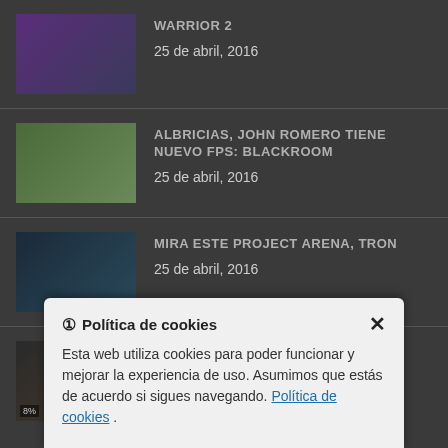WARRIOR 2 | 25 de abril, 2016
ALBRICIAS, JOHN ROMERO TIENE NUEVO FPS: BLACKROOM | 25 de abril, 2016
MIRA ESTE PROJECT ARENA, TRON | 25 de abril, 2016
PLAYER TWO | 21 de abril, 2016
Política de cookies
Esta web utiliza cookies para poder funcionar y mejorar la experiencia de uso. Asumimos que estás de acuerdo si sigues navegando. Política de cookies .